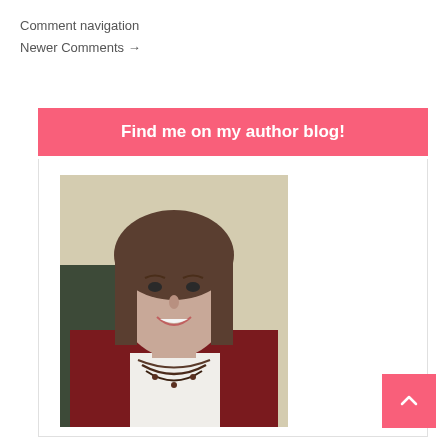Comment navigation
Newer Comments →
Find me on my author blog!
[Figure (photo): Portrait photo of a woman with brown shoulder-length hair, smiling, wearing a dark red cardigan and layered necklace]